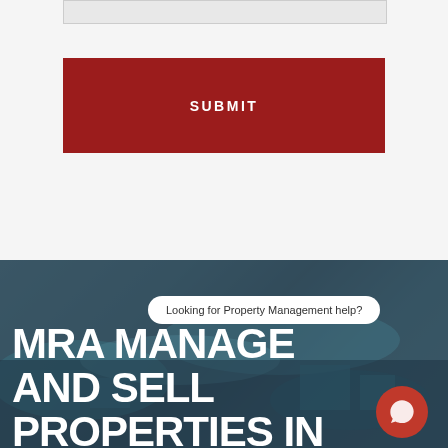[Figure (screenshot): Input bar / form field at the top of the page, light grey background]
SUBMIT
[Figure (photo): Aerial city photo with waterways and urban landscape, darkened overlay. Chat bubble says 'Looking for Property Management help?' with a red chat icon button. Large white bold headline reads 'MRA MANAGE AND SELL PROPERTIES IN']